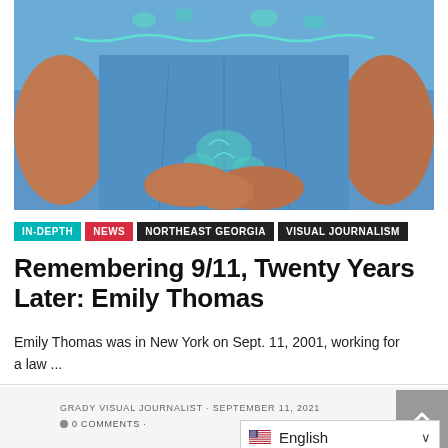[Figure (photo): Close-up photo of a woman's torso wearing a blue floral embroidered dress, arms folded across her midsection.]
IN-DEPTH · NEWS · NORTHEAST GEORGIA · VISUAL JOURNALISM
Remembering 9/11, Twenty Years Later: Emily Thomas
Emily Thomas was in New York on Sept. 11, 2001, working for a law ...
GRADY VISUAL JOURNALIST · SEPTEMBER 11, 2021  ● 0 COMMENTS ·  English